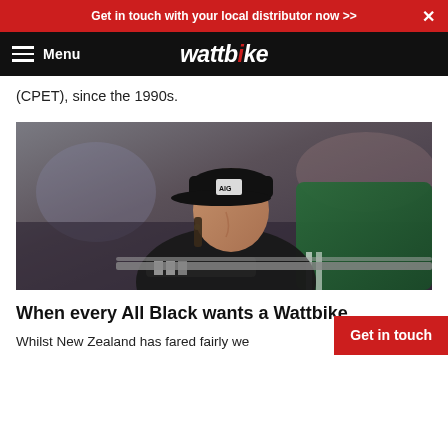Get in touch with your local distributor now >>
Menu  wattbike
(CPET), since the 1990s.
[Figure (photo): A man wearing an AIG All Blacks cap and black jacket leans on a railing, looking to the side. He appears to be at a sporting event.]
When every All Black wants a Wattbike...
Whilst New Zealand has fared fairly we